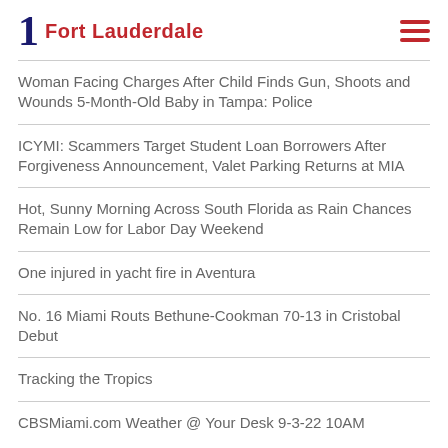1 Fort Lauderdale
Woman Facing Charges After Child Finds Gun, Shoots and Wounds 5-Month-Old Baby in Tampa: Police
ICYMI: Scammers Target Student Loan Borrowers After Forgiveness Announcement, Valet Parking Returns at MIA
Hot, Sunny Morning Across South Florida as Rain Chances Remain Low for Labor Day Weekend
One injured in yacht fire in Aventura
No. 16 Miami Routs Bethune-Cookman 70-13 in Cristobal Debut
Tracking the Tropics
CBSMiami.com Weather @ Your Desk 9-3-22 10AM